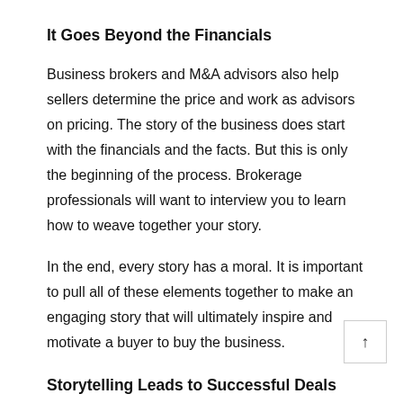It Goes Beyond the Financials
Business brokers and M&A advisors also help sellers determine the price and work as advisors on pricing. The story of the business does start with the financials and the facts. But this is only the beginning of the process. Brokerage professionals will want to interview you to learn how to weave together your story.
In the end, every story has a moral. It is important to pull all of these elements together to make an engaging story that will ultimately inspire and motivate a buyer to buy the business.
Storytelling Leads to Successful Deals